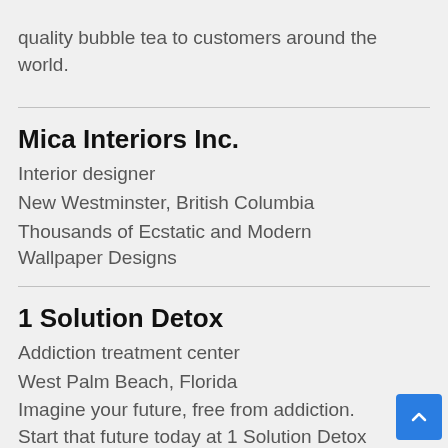quality bubble tea to customers around the world.
Mica Interiors Inc.
Interior designer
New Westminster, British Columbia
Thousands of Ecstatic and Modern Wallpaper Designs
1 Solution Detox
Addiction treatment center
West Palm Beach, Florida
Imagine your future, free from addiction. Start that future today at 1 Solution Detox